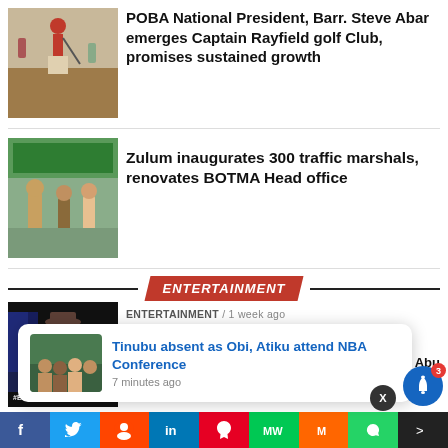[Figure (photo): Person swinging golf club on a field]
POBA National President, Barr. Steve Abar emerges Captain Rayfield golf Club, promises sustained growth
[Figure (photo): Man in traditional attire at an outdoor event with green canopy]
Zulum inaugurates 300 traffic marshals, renovates BOTMA Head office
ENTERTAINMENT
[Figure (photo): Khalid wearing hat and plaid shirt for BBNaija]
ENTERTAINMENT / 1 week ago
Khalid evicted from BBNaija
Tinubu absent as Obi, Atiku attend NBA Conference
7 minutes ago
Odey Abu ional 2022